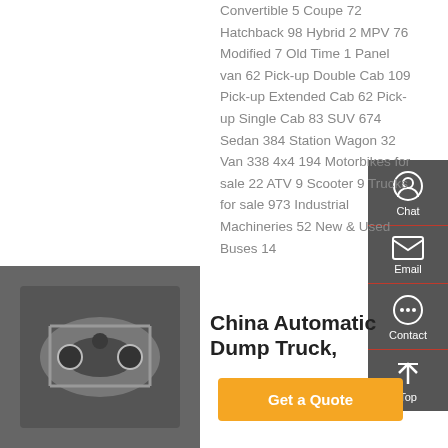Convertible 5 Coupe 72 Hatchback 98 Hybrid 2 MPV 76 Modified 7 Old Time 1 Panel van 62 Pick-up Double Cab 109 Pick-up Extended Cab 62 Pick-up Single Cab 83 SUV 674 Sedan 384 Station Wagon 32 Van 338 4x4 194 Motorbikes for sale 22 ATV 9 Scooter 9 Trucks for sale 973 Industrial Machineries 52 New & Used Buses 14
Get a Quote
[Figure (photo): Undercarriage/underbody of a vehicle, showing mechanical components]
China Automatic Dump Truck,